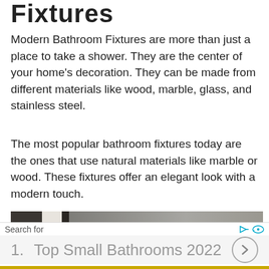Fixtures
Modern Bathroom Fixtures are more than just a place to take a shower. They are the center of your home’s decoration. They can be made from different materials like wood, marble, glass, and stainless steel.
The most popular bathroom fixtures today are the ones that use natural materials like marble or wood. These fixtures offer an elegant look with a modern touch.
[Figure (photo): Partial view of a modern bathroom fixture, showing dark metal bars and a grey/beige tiled background.]
Search for
1.  Top Small Bathrooms 2022